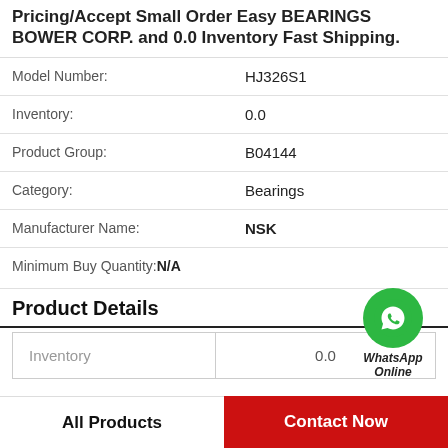Pricing/Accept Small Order Easy BEARINGS BOWER CORP. and 0.0 Inventory Fast Shipping.
| Model Number: | HJ326S1 |
| Inventory: | 0.0 |
| Product Group: | B04144 |
| Category: | Bearings |
| Manufacturer Name: | NSK |
| Minimum Buy Quantity: | N/A |
[Figure (logo): WhatsApp Online green circle logo with phone icon and text 'WhatsApp Online']
Product Details
| Inventory | 0.0 |
| --- | --- |
| Inventory | 0.0 |
All Products
Contact Now